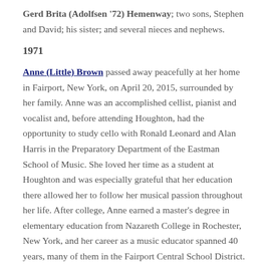Gerd Brita (Adolfsen '72) Hemenway; two sons, Stephen and David; his sister; and several nieces and nephews.
1971
Anne (Little) Brown passed away peacefully at her home in Fairport, New York, on April 20, 2015, surrounded by her family. Anne was an accomplished cellist, pianist and vocalist and, before attending Houghton, had the opportunity to study cello with Ronald Leonard and Alan Harris in the Preparatory Department of the Eastman School of Music. She loved her time as a student at Houghton and was especially grateful that her education there allowed her to follow her musical passion throughout her life. After college, Anne earned a master's degree in elementary education from Nazareth College in Rochester, New York, and her career as a music educator spanned 40 years, many of them in the Fairport Central School District.